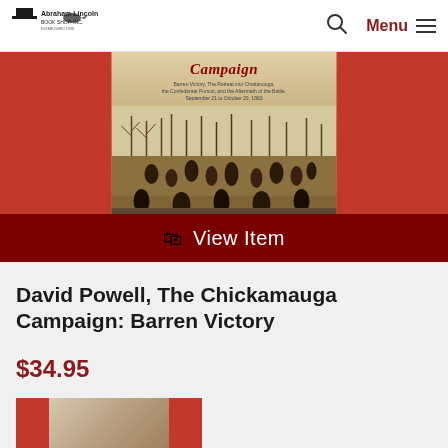Abraham Lincoln Book Shop, Inc. — Menu navigation
[Figure (photo): Book cover of 'The Chickamauga Campaign: Barren Victory' by David A. Powell, showing a Civil War battle scene with Confederate pursuit, with a dark red background and 'View Item' button overlay]
David Powell, The Chickamauga Campaign: Barren Victory
$34.95
[Figure (photo): Partial view of another book cover with red background, partially visible at bottom of page]